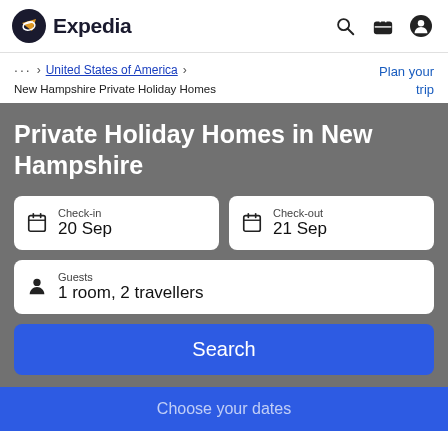Expedia
... > United States of America > New Hampshire Private Holiday Homes
Plan your trip
Private Holiday Homes in New Hampshire
Check-in 20 Sep
Check-out 21 Sep
Guests 1 room, 2 travellers
Search
Choose your dates